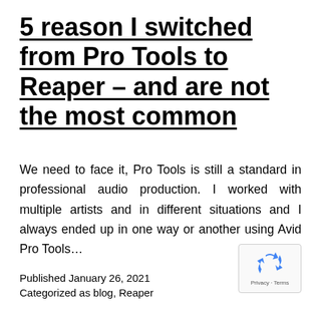5 reason I switched from Pro Tools to Reaper – and are not the most common
We need to face it, Pro Tools is still a standard in professional audio production. I worked with multiple artists and in different situations and I always ended up in one way or another using Avid Pro Tools…
Published January 26, 2021
Categorized as blog, Reaper
[Figure (logo): reCAPTCHA privacy badge with recycling-arrow icon and Privacy · Terms label]